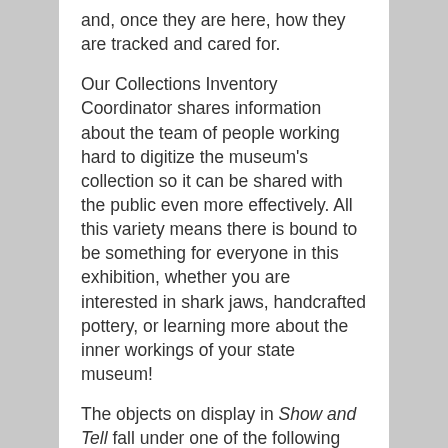and, once they are here, how they are tracked and cared for.
Our Collections Inventory Coordinator shares information about the team of people working hard to digitize the museum’s collection so it can be shared with the public even more effectively. All this variety means there is bound to be something for everyone in this exhibition, whether you are interested in shark jaws, handcrafted pottery, or learning more about the inner workings of your state museum!
The objects on display in Show and Tell fall under one of the following four disciplines: Cultural History, Art, Science and Technology, and Natural History.